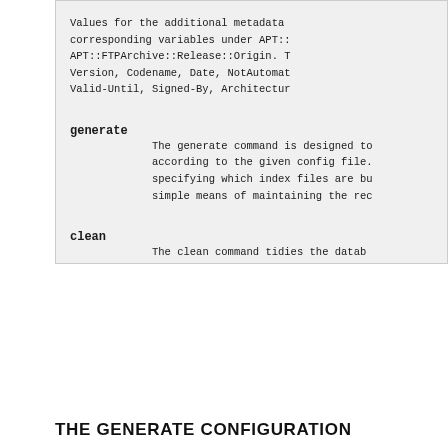Values for the additional metadata corresponding variables under APT:: APT::FTPArchive::Release::Origin. T Version, Codename, Date, NotAutomat Valid-Until, Signed-By, Architectur
generate
The generate command is designed to according to the given config file. specifying which index files are bu simple means of maintaining the rec
clean
The clean command tidies the databa removing any records that are no lo
THE GENERATE CONFIGURATION